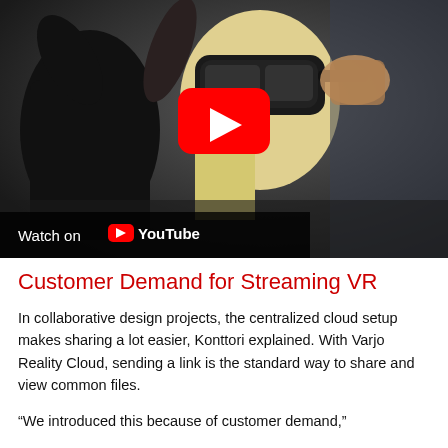[Figure (screenshot): Video thumbnail showing a woman wearing a VR headset being fitted by another person. A YouTube play button overlay is visible in the center. A 'Watch on YouTube' bar appears at the bottom left of the image.]
Customer Demand for Streaming VR
In collaborative design projects, the centralized cloud setup makes sharing a lot easier, Konttori explained. With Varjo Reality Cloud, sending a link is the standard way to share and view common files.
“We introduced this because of customer demand,”